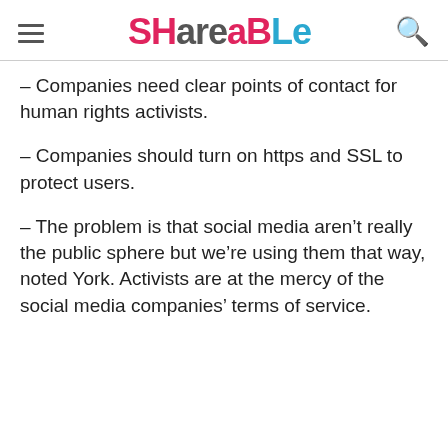SHAReaBLe
– Companies need clear points of contact for human rights activists.
– Companies should turn on https and SSL to protect users.
– The problem is that social media aren't really the public sphere but we're using them that way, noted York. Activists are at the mercy of the social media companies' terms of service.